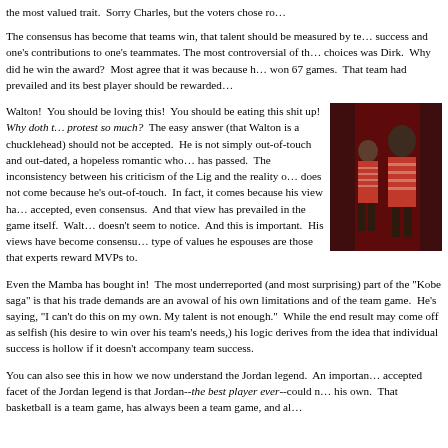the most valued trait.  Sorry Charles, but the voters chose ro...
The consensus has become that teams win, that talent should be measured by te... success and one's contributions to one's teammates. The most controversial of th... choices was Dirk.  Why did he win the award?  Most agree that it was because h... won 67 games.  That team had prevailed and its best player should be rewarded...
Walton!  You should be loving this!  You should be eating this shit up!  Why doth t... protest so much?  The easy answer (that Walton is a chucklehead) should not be accepted.  He is not simply out-of-touch and out-dated, a hopeless romantic who... has passed.  The inconsistency between his criticism of the Lig and the reality o... does not come because he's out-of-touch.  In fact, it comes because his view ha... accepted, even consensus.  And that view has prevailed in the game itself.  Walt... doesn't seem to notice.  And this is important.  His views have become consensu... type of values he espouses are those that experts reward MVPs to.
[Figure (photo): Photo of a person (appears to be a basketball player) with others, wearing striped clothing, against a dark/red background]
Even the Mamba has bought in!  The most underreported (and most surprising) part of the "Kobe saga" is that his trade demands are an avowal of his own limitations and of the team game.  He's saying, "I can't do this on my own. My talent is not enough."  While the end result may come off as selfish (his desire to win over his team's needs,) his logic derives from the idea that individual success is hollow if it doesn't accompany team success.
You can also see this in how we now understand the Jordan legend.  An importan... accepted facet of the Jordan legend is that Jordan--the best player ever--could n... his own.  That basketball is a team game, has always been a team game, and al...